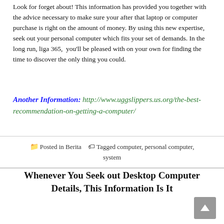Look for forget about! This information has provided you together with the advice necessary to make sure your after that laptop or computer purchase is right on the amount of money. By using this new expertise, seek out your personal computer which fits your set of demands. In the long run, liga 365,  you'll be pleased with on your own for finding the time to discover the only thing you could.
Another Information: http://www.uggslippers.us.org/the-best-recommendation-on-getting-a-computer/
Posted in Berita   Tagged computer, personal computer, system
Whenever You Seek out Desktop Computer Details, This Information Is It